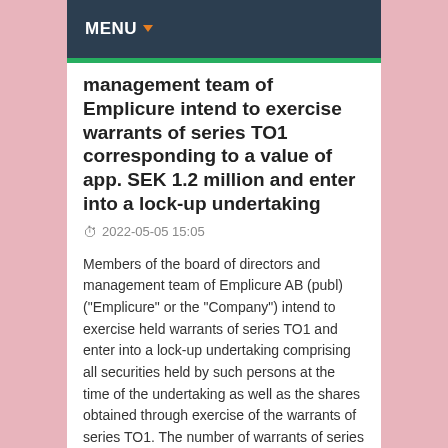MENU
management team of Emplicure intend to exercise warrants of series TO1 corresponding to a value of app. SEK 1.2 million and enter into a lock-up undertaking
2022-05-05 15:05
Members of the board of directors and management team of Emplicure AB (publ) ("Emplicure" or the "Company") intend to exercise held warrants of series TO1 and enter into a lock-up undertaking comprising all securities held by such persons at the time of the undertaking as well as the shares obtained through exercise of the warrants of series TO1. The number of warrants of series TO1 that the board of directors and the management team intend to exercise amounts to 588,227 warrants, corresponding to 6.1